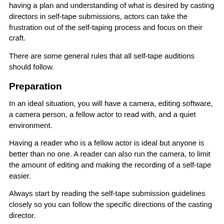having a plan and understanding of what is desired by casting directors in self-tape submissions, actors can take the frustration out of the self-taping process and focus on their craft.
There are some general rules that all self-tape auditions should follow.
Preparation
In an ideal situation, you will have a camera, editing software, a camera person, a fellow actor to read with, and a quiet environment.
Having a reader who is a fellow actor is ideal but anyone is better than no one. A reader can also run the camera, to limit the amount of editing and making the recording of a self-tape easier.
Always start by reading the self-tape submission guidelines closely so you can follow the specific directions of the casting director.
For those with the time and resources to go above and beyond, dress appropriately for your character and be completely off-book.
Recording